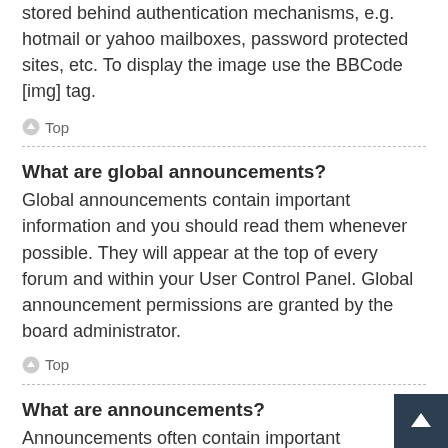stored behind authentication mechanisms, e.g. hotmail or yahoo mailboxes, password protected sites, etc. To display the image use the BBCode [img] tag.
↑ Top
What are global announcements?
Global announcements contain important information and you should read them whenever possible. They will appear at the top of every forum and within your User Control Panel. Global announcement permissions are granted by the board administrator.
↑ Top
What are announcements?
Announcements often contain important information for the forum you are currently reading and you should read them whenever possible.